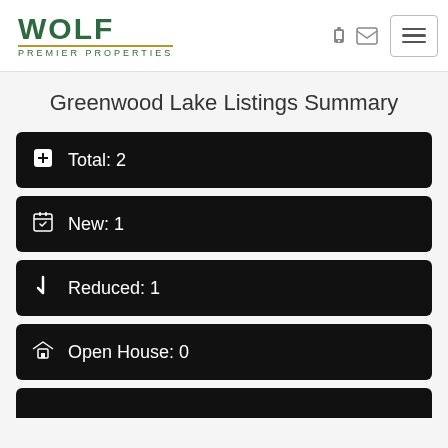[Figure (logo): Wolf Premier Properties logo with green text and gold underline]
Greenwood Lake Listings Summary
Total: 2
New: 1
Reduced: 1
Open House: 0